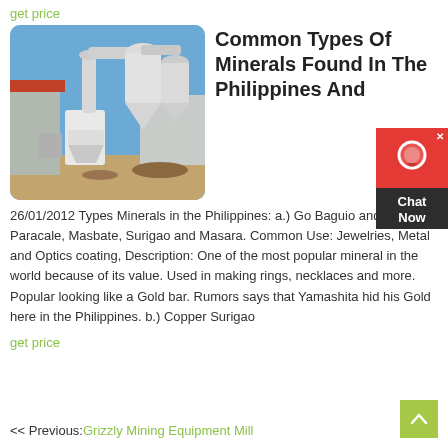get price
[Figure (photo): Industrial grinding/milling equipment — white cyclone dust collector and grinding mill machinery outside a building with a blue sky background]
Common Types Of Minerals Found In The Philippines And
26/01/2012 Types Minerals in the Philippines: a.) Go Baguio and Paracale, Masbate, Surigao and Masara. Common Use: Jewelries, Metal and Optics coating, Description: One of the most popular mineral in the world because of its value. Used in making rings, necklaces and more. Popular looking like a Gold bar. Rumors says that Yamashita hid his Gold here in the Philippines. b.) Copper Surigao
get price
<< Previous: Grizzly Mining Equipment Mill